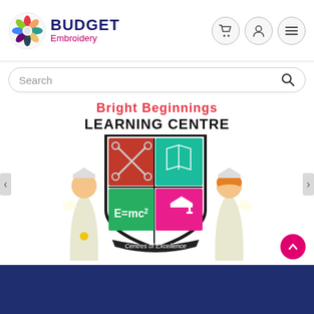[Figure (logo): Budget Embroidery logo with colorful circular flower/wreath emblem on left, 'BUDGET' in large bold dark blue text and 'Embroidery' in smaller magenta text on right]
[Figure (screenshot): Navigation icons: shopping cart, user account, and hamburger menu — each in a circular button with grey border]
[Figure (screenshot): Search bar with rounded rectangle border, placeholder text 'Search' and a magnifying glass icon on the right]
[Figure (illustration): Product image: Bright Beginnings Learning Centre embroidery design showing a shield crest with four colored quadrants (red with scissors, teal with open book, green with E=mc2, pink with graduation cap), two children in graduation gowns flanking the shield, colorful 'Bright Beginnings' text at top, 'LEARNING CENTRE' in bold black text, and 'Centres of Excellence' on a banner ribbon at the bottom of the shield]
[Figure (other): Scroll-to-top circular button in magenta/pink with upward arrow icon, positioned bottom-right]
[Figure (other): Dark navy blue footer bar at the bottom of the page]